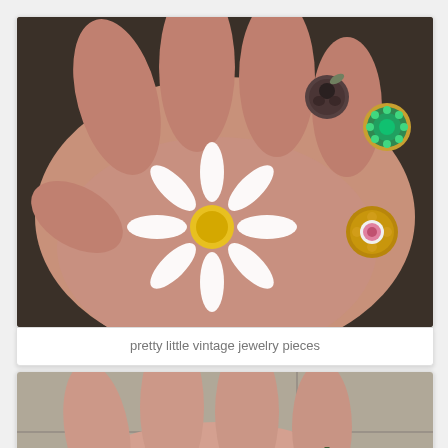[Figure (photo): A hand holding several vintage jewelry pieces including a large white daisy flower brooch with yellow center, a dark rose ring/brooch, a green rhinestone cluster brooch, and a filigree gold brooch with pink rose center.]
pretty little vintage jewelry pieces
[Figure (photo): A hand holding vintage jewelry pieces including a small dark flower brooch, a silver rose brooch, and a large multicolor starburst brooch with red center stone.]